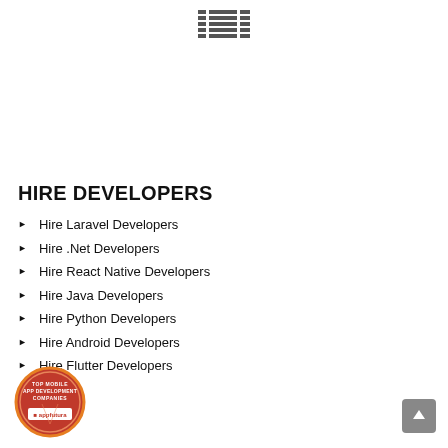IBM
HIRE DEVELOPERS
Hire Laravel Developers
Hire .Net Developers
Hire React Native Developers
Hire Java Developers
Hire Python Developers
Hire Android Developers
Hire Flutter Developers
[Figure (logo): Top Mobile App Development Companies - AppFutura badge, circular orange/red badge with text]
[Figure (other): Scroll to top button, grey rounded square with upward arrow]